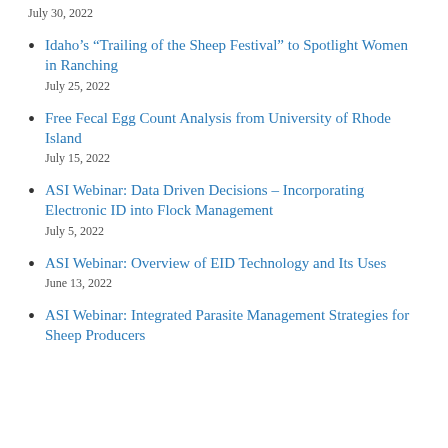July 30, 2022
Idaho's “Trailing of the Sheep Festival” to Spotlight Women in Ranching
July 25, 2022
Free Fecal Egg Count Analysis from University of Rhode Island
July 15, 2022
ASI Webinar: Data Driven Decisions – Incorporating Electronic ID into Flock Management
July 5, 2022
ASI Webinar: Overview of EID Technology and Its Uses
June 13, 2022
ASI Webinar: Integrated Parasite Management Strategies for Sheep Producers